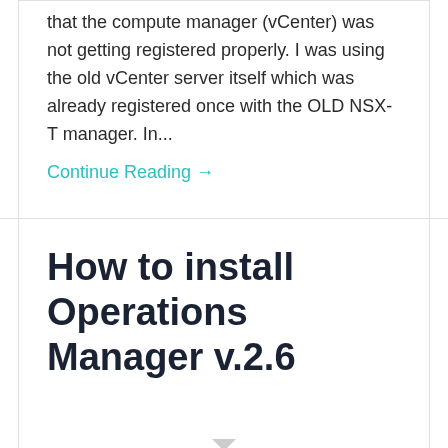that the compute manager (vCenter) was not getting registered properly. I was using the old vCenter server itself which was already registered once with the OLD NSX-T manager. In...
Continue Reading →
How to install Operations Manager v.2.6
VMware Enterprise PKS 1.5 comes with Operations Manager (OpsMan) version 2.6.8 The deployment of the Operations manager 2.6.8 is different from its